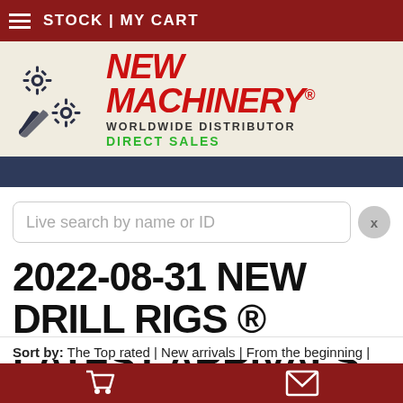STOCK | MY CART
[Figure (logo): New Machinery logo with gear icons, red italic text 'NEW MACHINERY®', 'WORLDWIDE DISTRIBUTOR' in dark text, 'DIRECT SALES' in green]
Live search by name or ID
2022-08-31 NEW DRILL RIGS ® LATEST ARRIVALS
Sort by: The Top rated | New arrivals | From the beginning |